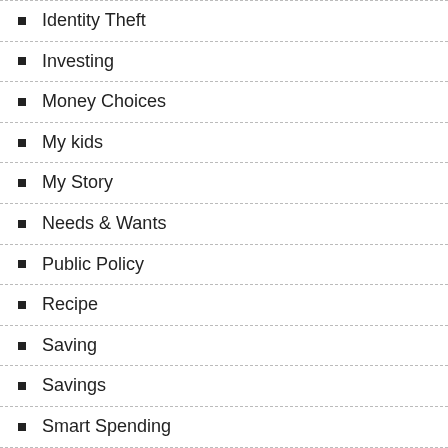Identity Theft
Investing
Money Choices
My kids
My Story
Needs & Wants
Public Policy
Recipe
Saving
Savings
Smart Spending
Uncategorized